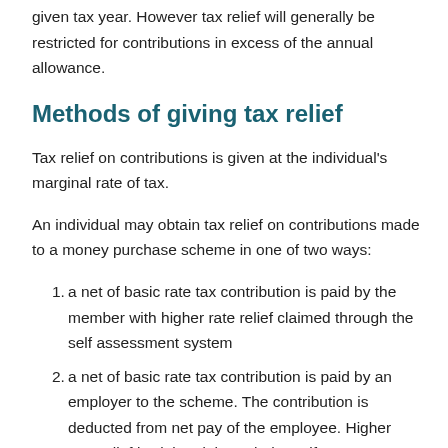given tax year. However tax relief will generally be restricted for contributions in excess of the annual allowance.
Methods of giving tax relief
Tax relief on contributions is given at the individual's marginal rate of tax.
An individual may obtain tax relief on contributions made to a money purchase scheme in one of two ways:
a net of basic rate tax contribution is paid by the member with higher rate relief claimed through the self assessment system
a net of basic rate tax contribution is paid by an employer to the scheme. The contribution is deducted from net pay of the employee. Higher rate relief is claimed through the self assessment system